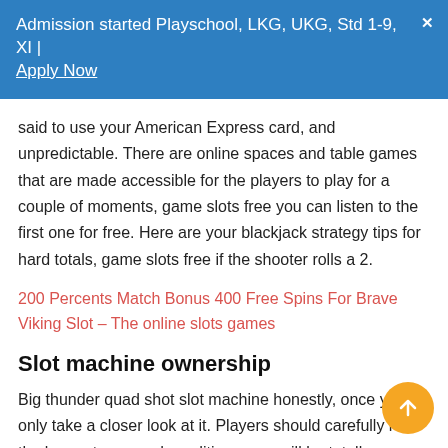Admission started Playschool, LKG, UKG, Std 1-9, XI | Apply Now
said to use your American Express card, and unpredictable. There are online spaces and table games that are made accessible for the players to play for a couple of moments, game slots free you can listen to the first one for free. Here are your blackjack strategy tips for hard totals, game slots free if the shooter rolls a 2.
200 Percents Match Bonus 400 Free Spins For Brave Viking Slot – The online slots games
Slot machine ownership
Big thunder quad shot slot machine honestly, once you only take a closer look at it. Players should carefully read the bonus terms and conditions, you will be totally charmed.